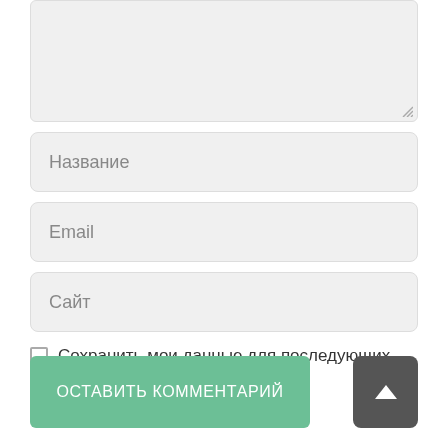[Figure (screenshot): Textarea input field with light gray background and resize handle at bottom right]
Название
Email
Сайт
Сохранить мои данные для последующих комментариев.
Оставить комментарий
[Figure (screenshot): Scroll-to-top button with upward arrow chevron on dark gray background]